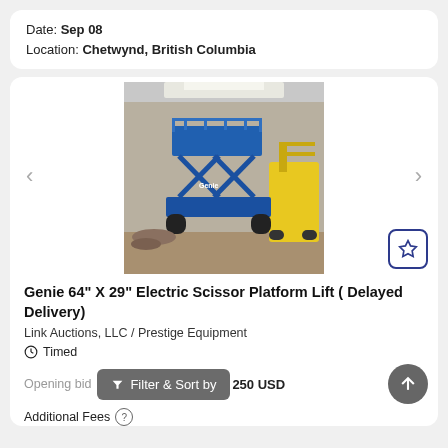Date: Sep 08
Location: Chetwynd, British Columbia
[Figure (photo): Photo of a blue Genie electric scissor platform lift in a warehouse setting, with a yellow forklift visible in background]
Genie 64" X 29" Electric Scissor Platform Lift ( Delayed Delivery)
Link Auctions, LLC / Prestige Equipment
Timed
Opening bid
Filter & Sort by
250 USD
Additional Fees